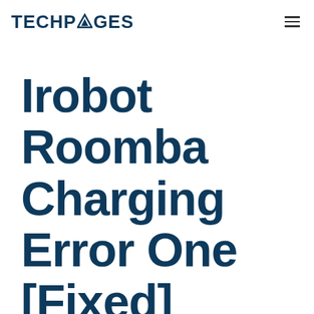TECHPAGES
Irobot Roomba Charging Error One [Fixed]